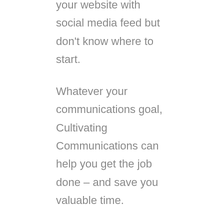your website with social media feed but don't know where to start.
Whatever your communications goal, Cultivating Communications can help you get the job done – and save you valuable time.
Our services
Our range of services offers solutions to almost every challenge facing Business-to-Farm or Farm-to-Business